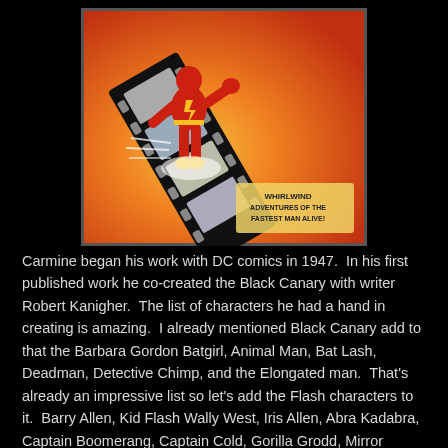[Figure (illustration): Comic book cover art showing The Flash (a superhero in red costume with lightning bolt emblem) running and bursting through a film strip. The background is orange/red. Text on the image reads 'WHIRLWIND ADVENTURES OF THE FASTEST MAN ALIVE!']
Carmine began his work with DC comics in 1947.  In his first published work he co-created the Black Canary with writer Robert Kanigher.  The list of characters he had a hand in creating is amazing.  I already mentioned Black Canary add to that the Barbara Gordon Batgirl, Animal Man, Bat Lash, Deadman, Detective Chimp, and the Elongated man.  That's already an impressive list so let's add the Flash characters to it.  Barry Allen, Kid Flash Wally West, Iris Allen, Abra Kadabra, Captain Boomerang, Captain Cold, Gorilla Grodd, Mirror Master, Trickster, and